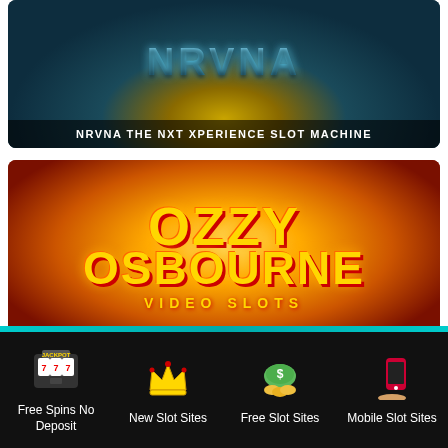[Figure (screenshot): NRVNA The NXT Xperience slot machine promotional image with dark teal background and glowing title text]
NRVNA THE NXT XPERIENCE SLOT MACHINE
[Figure (screenshot): Ozzy Osbourne Video Slots promotional image with orange/red radial glow background and yellow/gold logo text]
[Figure (infographic): Bottom navigation bar with four icons: Free Spins No Deposit (slot machine icon), New Slot Sites (crown icon), Free Slot Sites (money bag icon), Mobile Slot Sites (phone icon)]